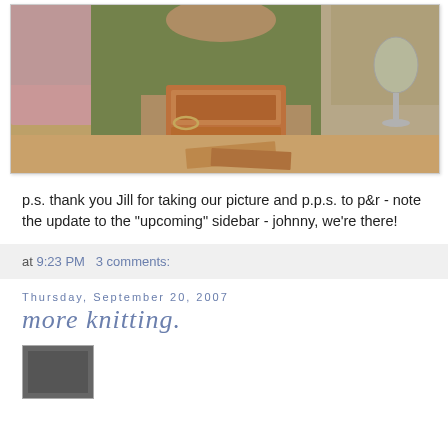[Figure (photo): Three people sitting at a wooden table. The person in the center wearing an olive/khaki top is opening or handling an orange/tan textured box or case. A person in pink is partially visible on the left, and a person in beige on the right holds a wine glass.]
p.s. thank you Jill for taking our picture and p.p.s. to p&r - note the update to the "upcoming" sidebar - johnny, we're there!
at 9:23 PM   3 comments:
Thursday, September 20, 2007
more knitting.
[Figure (photo): Thumbnail image, partially visible at bottom of page.]